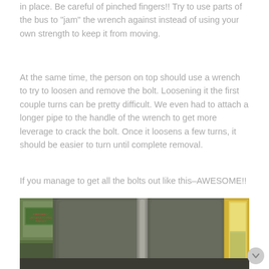in place. Be careful of pinched fingers!! Try to use parts of the bus to "jam" the wrench against instead of using your own strength to keep it from moving.
At the same time, the person on top should use a wrench to try to loosen and remove the bolt. Loosening it the first couple turns can be pretty difficult. We even had to attach a longer pipe to the handle of the wrench to get more leverage to crack the bolt. Once it loosens a few turns, it should be easier to turn until complete removal.
If you manage to get all the bolts out like this–AWESOME!!
[Figure (photo): Interior photo of a school bus showing gray/dark green padded seat backs and the side windows of the bus with yellow trim visible on the right side and green foliage outside the windows.]